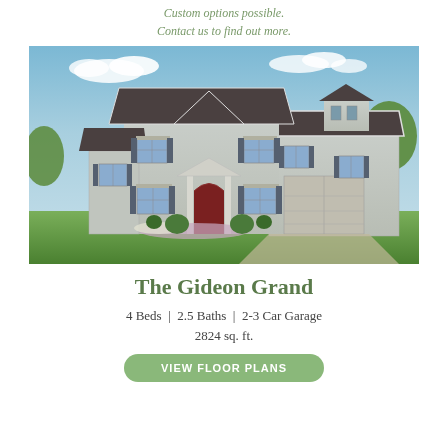Custom options possible.
Contact us to find out more.
[Figure (photo): Exterior rendering of a two-story colonial-style home called The Gideon Grand, with gray siding, dark shutters, dark roof, arched front door entry, attached garage wing, and landscaped front yard with flowers and green lawn against a blue sky.]
The Gideon Grand
4 Beds  |  2.5 Baths  |  2-3 Car Garage
2824 sq. ft.
VIEW FLOOR PLANS